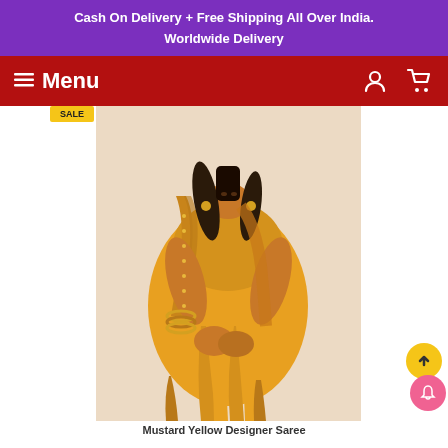Cash On Delivery + Free Shipping All Over India.
Worldwide Delivery
Menu
[Figure (photo): Woman wearing a mustard yellow saree with golden embroidered border and matching blouse, posing against a light background]
Mustard Yellow Designer Saree